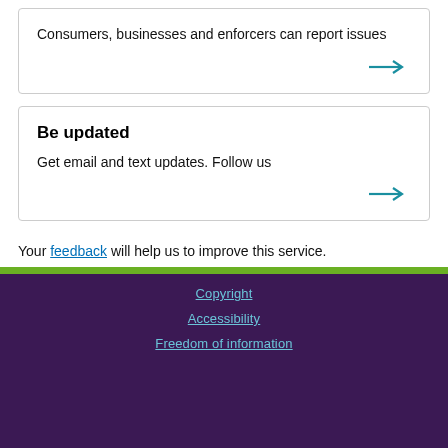Consumers, businesses and enforcers can report issues
Be updated
Get email and text updates. Follow us
Your feedback will help us to improve this service.
Copyright
Accessibility
Freedom of information